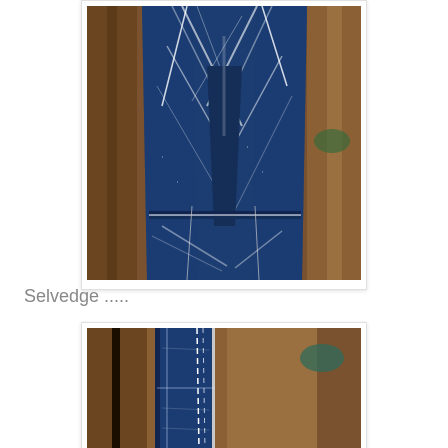[Figure (photo): Close-up photograph of dark blue denim jeans showing heavily worn and whisker creases, with white stitching visible, laid on a wooden surface. The crotch/thigh area shows characteristic fading patterns typical of selvedge denim.]
Selvedge .....
[Figure (photo): Close-up photograph of selvedge denim fabric showing the selvedge edge with white stitching running along blue denim, placed against a wooden background.]